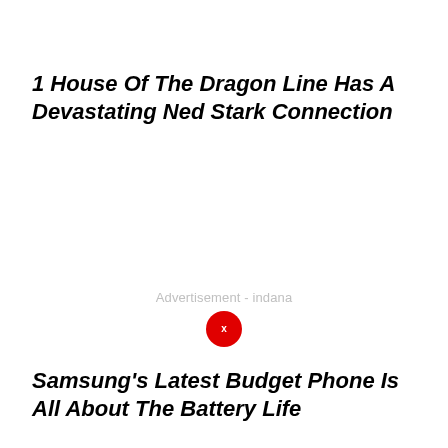1 House Of The Dragon Line Has A Devastating Ned Stark Connection
[Figure (other): Advertisement placeholder area with 'Advertisement - indana' text and a red close button circle with an X]
Samsung's Latest Budget Phone Is All About The Battery Life